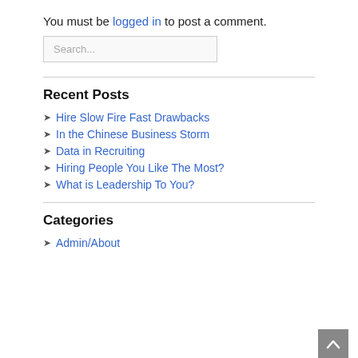You must be logged in to post a comment.
Search...
Recent Posts
Hire Slow Fire Fast Drawbacks
In the Chinese Business Storm
Data in Recruiting
Hiring People You Like The Most?
What is Leadership To You?
Categories
Admin/About